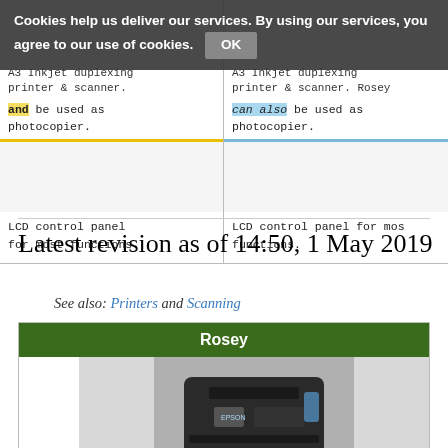Cookies help us deliver our services. By using our services, you agree to our use of cookies. OK
| A3 Inkjet duplexing printer & scanner. Rosey and be used as photocopier. | A3 Inkjet duplexing printer & scanner. Rosey can also be used as photocopier. |
| (image) | (image) |
| LCD control panel for most functions. | LCD control panel for most functions. |
Latest revision as of 14:50, 1 May 2019
See also: Printers and Scanning
| Rosey |
| --- |
| (photo of Epson printer) |